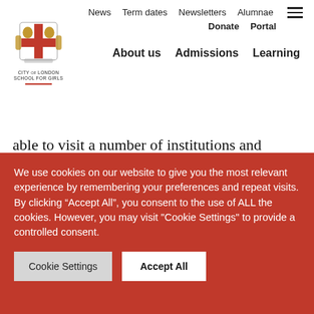News  Term dates  Newsletters  Alumnae  Donate  Portal  About us  Admissions  Learning
able to visit a number of institutions and workplaces to find out more about their chosen area. Year 10 girls are also taken on a trip to Queen Mary University of London to get a sense of what a campus, non-Oxbridge university is like. The girls use Unifrog to start researching degree and apprenticeship
We use cookies on our website to give you the most relevant experience by remembering your preferences and repeat visits. By clicking “Accept All”, you consent to the use of ALL the cookies. However, you may visit "Cookie Settings" to provide a controlled consent.